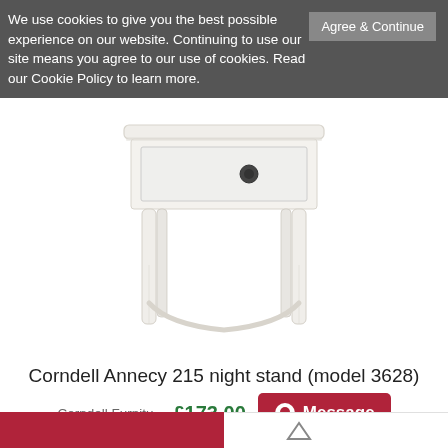We use cookies to give you the best possible experience on our website. Continuing to use our site means you agree to our use of cookies. Read our Cookie Policy to learn more.
Agree & Continue
[Figure (photo): White painted wooden bedside night stand (Corndell Annecy 215, model 3628) with a single drawer, dark round knob, turned tapered legs with a curved stretcher near the base.]
Corndell Annecy 215 night stand (model 3628)
Corndell Furniture
£173.00
Message